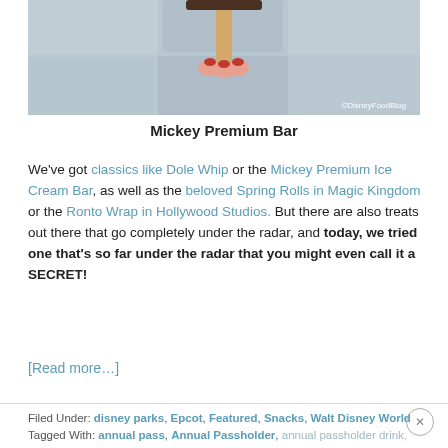[Figure (photo): A hand with red nails holding a Mickey Premium ice cream bar on a stick, with a stone/wall background. Watermark reads ©DisneyFoodBlog]
Mickey Premium Bar
We've got classics like Dole Whip or the Mickey Premium Ice Cream Bar, as well as the beloved Spring Rolls in Magic Kingdom or the Ronto Wrap in Hollywood Studios. But there are also treats out there that go completely under the radar, and today, we tried one that's so far under the radar that you might even call it a SECRET!
[Read more…]
Filed Under: disney parks, Epcot, Featured, Snacks, Walt Disney World
Tagged With: annual pass, Annual Passholder, annual passholder drink, Annual Passholder frozen lemonade, Annual Passholder Joffrey's drink, Beverage, drink, Epcot, frozen lemonade, frozen lemonade with lavender, Joffrey's